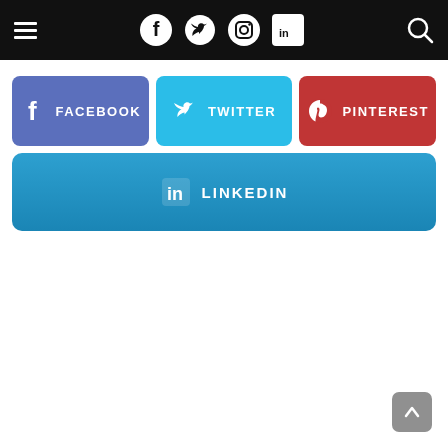[Figure (screenshot): Black navigation bar with hamburger menu, social media icons (Facebook, Twitter, Instagram, LinkedIn), and search icon]
[Figure (infographic): Social share buttons: Facebook (purple-blue), Twitter (cyan), Pinterest (red), and LinkedIn (blue gradient) sharing buttons with icons and labels]